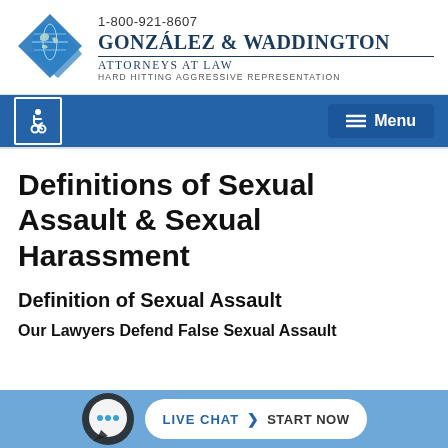[Figure (logo): González & Waddington law firm logo with globe and diamond shapes, phone number 1-800-921-8607, firm name, Attorneys at Law, tagline Hard Hitting Aggressive Representation]
[Figure (infographic): Navigation bar with accessibility icon and Menu button]
Definitions of Sexual Assault & Sexual Harassment
Definition of Sexual Assault
Our Lawyers Defend False Sexual Assault
[Figure (infographic): Live chat bar with chat bubble icon, LIVE CHAT > START NOW button]